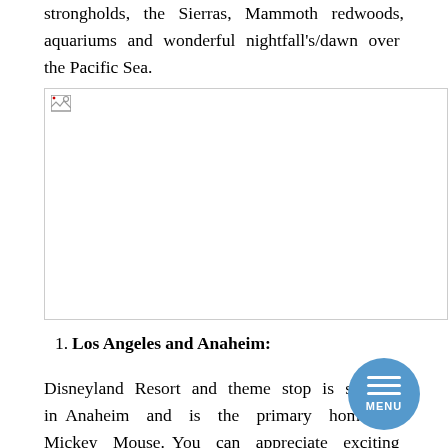strongholds, the Sierras, Mammoth redwoods, aquariums and wonderful nightfall's/dawn over the Pacific Sea.
[Figure (photo): A broken/unloaded image placeholder with a small broken image icon in the top-left corner.]
1. Los Angeles and Anaheim:
Disneyland Resort and theme stop is situated in Anaheim and is the primary home of Mickey Mouse. You can appreciate exciting rides, live shows for the